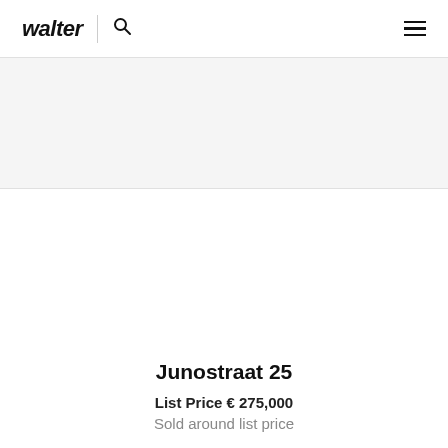walter
Junostraat 25
List Price € 275,000
Sold around list price